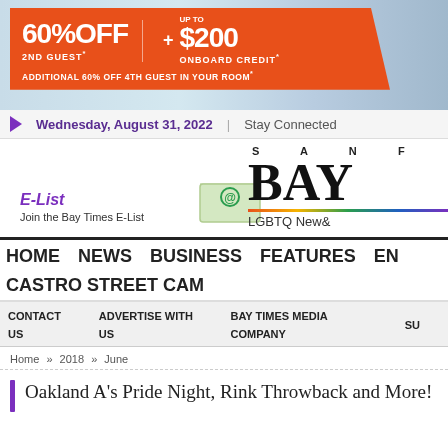[Figure (infographic): Advertisement banner: 60% OFF 2ND GUEST* | UP TO $200 ONBOARD CREDIT* + ADDITIONAL 60% OFF 4TH GUEST IN YOUR ROOM* on orange overlay over coastal photo background]
Wednesday, August 31, 2022 | Stay Connected
[Figure (logo): San Francisco Bay Times LGBTQ News & logo with email/E-List signup section]
HOME
NEWS
BUSINESS
FEATURES
EN
CASTRO STREET CAM
CONTACT US
ADVERTISE WITH US
BAY TIMES MEDIA COMPANY
SU
Home » 2018 » June
Oakland A's Pride Night, Rink Throwback and More!